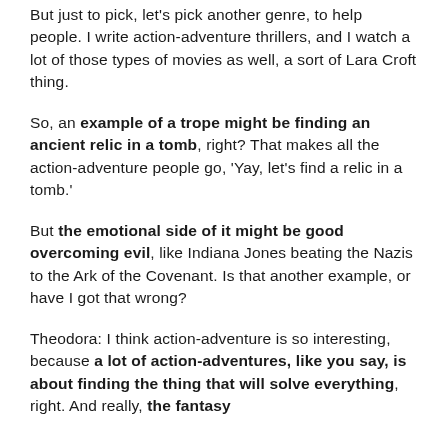But just to pick, let's pick another genre, to help people. I write action-adventure thrillers, and I watch a lot of those types of movies as well, a sort of Lara Croft thing.
So, an example of a trope might be finding an ancient relic in a tomb, right? That makes all the action-adventure people go, 'Yay, let's find a relic in a tomb.'
But the emotional side of it might be good overcoming evil, like Indiana Jones beating the Nazis to the Ark of the Covenant. Is that another example, or have I got that wrong?
Theodora: I think action-adventure is so interesting, because a lot of action-adventures, like you say, is about finding the thing that will solve everything, right. And really, the fantasy